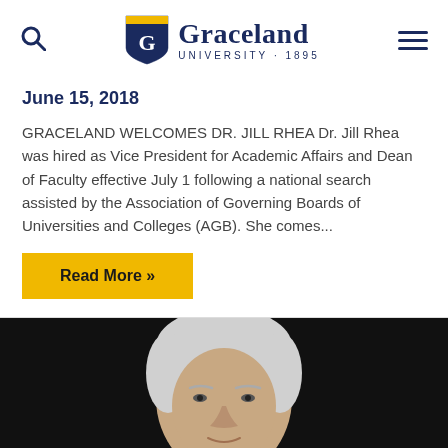Graceland University 1895
June 15, 2018
GRACELAND WELCOMES DR. JILL RHEA Dr. Jill Rhea was hired as Vice President for Academic Affairs and Dean of Faculty effective July 1 following a national search assisted by the Association of Governing Boards of Universities and Colleges (AGB). She comes...
Read More »
[Figure (photo): Headshot photo of a man with grey/white hair against a dark background, visible from shoulders up.]